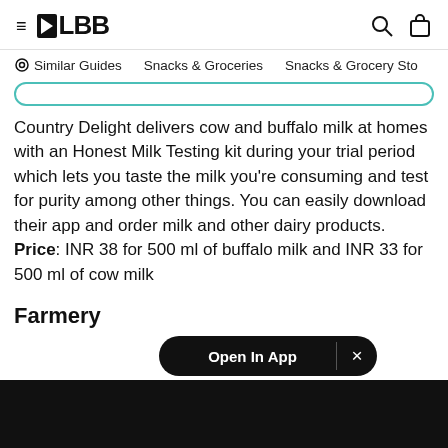≡ LBB [search icon] [bag icon]
Similar Guides   Snacks & Groceries   Snacks & Grocery Sto…
Country Delight delivers cow and buffalo milk at homes with an Honest Milk Testing kit during your trial period which lets you taste the milk you're consuming and test for purity among other things. You can easily download their app and order milk and other dairy products. Price: INR 38 for 500 ml of buffalo milk and INR 33 for 500 ml of cow milk
Farmery
[Figure (screenshot): Open In App button overlay with close X button, dark pill shape]
[Figure (photo): Black image area at bottom of page]